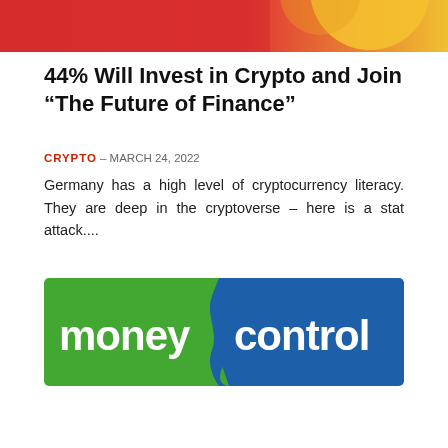[Figure (photo): Top portion of article image showing red and yellow colors, partially cropped at the top of the page]
44% Will Invest in Crypto and Join “The Future of Finance”
CRYPTO – MARCH 24, 2022
Germany has a high level of cryptocurrency literacy. They are deep in the cryptoverse – here is a stat attack....
[Figure (logo): Moneycontrol logo with green background on the left side showing 'money' in white text and blue background on the right showing 'control' in white text]